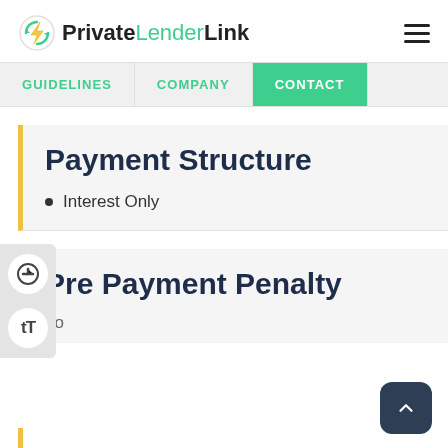PrivateLenderLink
Payment Structure
Interest Only
Pre Payment Penalty
no